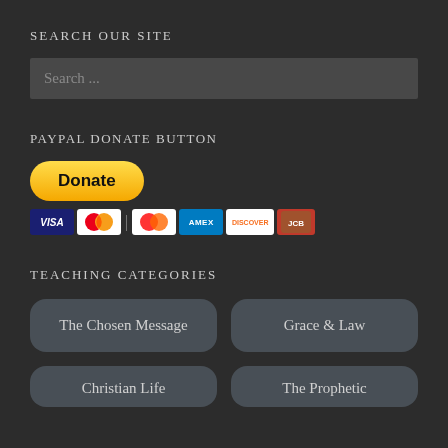SEARCH OUR SITE
Search ...
PayPal Donate Button
[Figure (other): PayPal Donate button (yellow pill-shaped button with text 'Donate') with credit card logos below: Visa, Mastercard, American Express, Discover, and one more card.]
TEACHING CATEGORIES
The Chosen Message
Grace & Law
Christian Life
The Prophetic